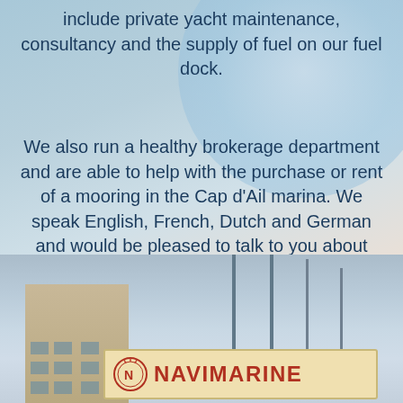include private yacht maintenance, consultancy and the supply of fuel on our fuel dock.
We also run a healthy brokerage department and are able to help with the purchase or rent of a mooring in the Cap d'Ail marina. We speak English, French, Dutch and German and would be pleased to talk to you about anything relating your yacht.
[Figure (other): Dark navy rounded rectangle button with white uppercase text reading YACHTS FOR SALE]
[Figure (photo): Marina photo showing boat masts, a multi-story building on the left, and a Navimarine sign with logo at the bottom center]